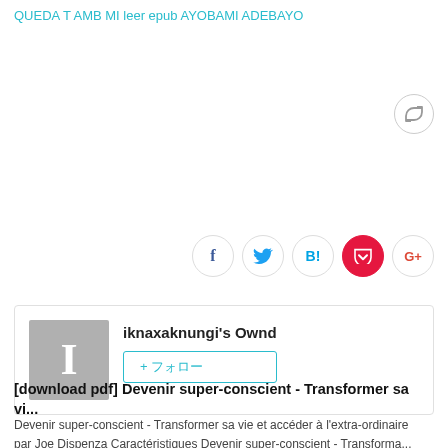QUEDA T AMB MI leer epub AYOBAMI ADEBAYO
[Figure (screenshot): Retweet/repost circular button icon]
[Figure (screenshot): Social sharing icons row: Facebook (f), Twitter bird, Hatena B!, Pocket (red), Google+]
[Figure (screenshot): Profile card with gray avatar showing letter I, username iknaxaknungi's Ownd, and a follow button with + and Japanese text]
関連記事
[download pdf] Devenir super-conscient - Transformer sa vi...
Devenir super-conscient - Transformer sa vie et accéder à l'extra-ordinaire par Joe Dispenza Caractéristiques Devenir super-conscient - Transforma...